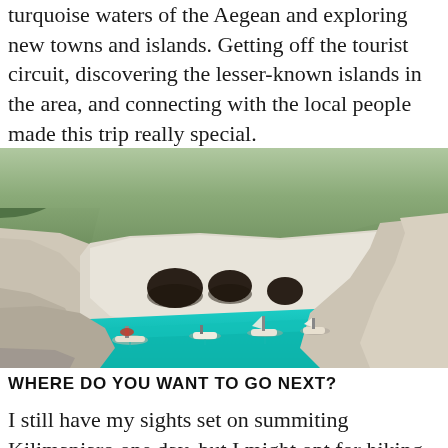turquoise waters of the Aegean and exploring new towns and islands. Getting off the tourist circuit, discovering the lesser-known islands in the area, and connecting with the local people made this trip really special.
[Figure (photo): Aerial view of a turquoise bay surrounded by white limestone cliffs and sea caves, with several sailboats and motorboats moored in the water. Green shrubs top the rocky cliffs.]
WHERE DO YOU WANT TO GO NEXT?
I still have my sights set on summiting Kilimanjaro one day, but I might opt for hiking the John Muir trail this